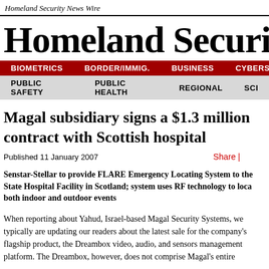Homeland Security News Wire
Homeland Security News W
BIOMETRICS   BORDER/IMMIG.   BUSINESS   CYBERSEC
PUBLIC SAFETY   PUBLIC HEALTH   REGIONAL   SCI
Magal subsidiary signs a $1.3 million contract with Scottish hospital
Published 11 January 2007   Share |
Senstar-Stellar to provide FLARE Emergency Locating System to the State Hospital Facility in Scotland; system uses RF technology to locate both indoor and outdoor events
When reporting about Yahud, Israel-based Magal Security Systems, we typically are updating our readers about the latest sale for the company's flagship product, the Dreambox video, audio, and sensors management platform. The Dreambox, however, does not comprise Magal's entire